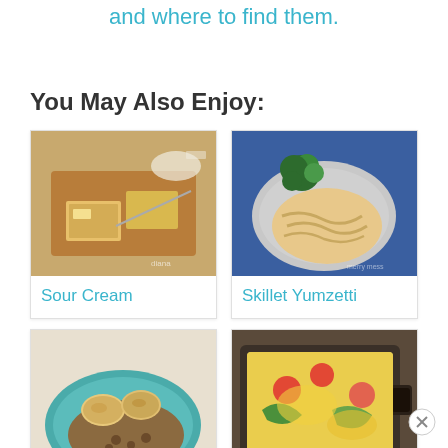and where to find them.
You May Also Enjoy:
[Figure (photo): Sour cream cornbread squares on a wooden cutting board]
Sour Cream
[Figure (photo): Plate of Skillet Yumzetti pasta with roasted brussels sprouts on blue background]
Skillet Yumzetti
[Figure (photo): Biscuits and sausage gravy on a teal plate]
[Figure (photo): Cheesy vegetable casserole in a cast iron baking dish]